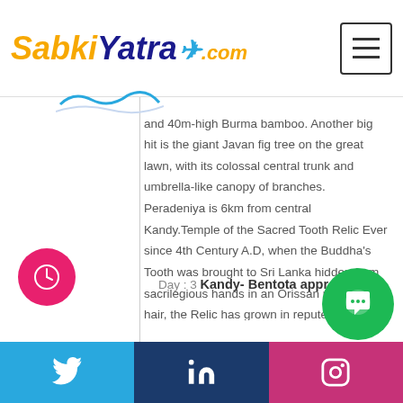SabkiYatra.com
and 40m-high Burma bamboo. Another big hit is the giant Javan fig tree on the great lawn, with its colossal central trunk and umbrella-like canopy of branches. Peradeniya is 6km from central Kandy.Temple of the Sacred Tooth Relic Ever since 4th Century A.D, when the Buddha's Tooth was brought to Sri Lanka hidden from sacrilegious hands in an Orissan princess' hair, the Relic has grown in repute and holiness in Sri Lanka and throughout the Buddhist world. It is considered Sri Lanka's most prized possession. Evening visit a gem shop and witness the Kandy Cultural Dance. Overnight stay at a Kandy hotel.
Day : 3 Kandy- Bentota approx. 3.5 h
Twitter | LinkedIn | Instagram